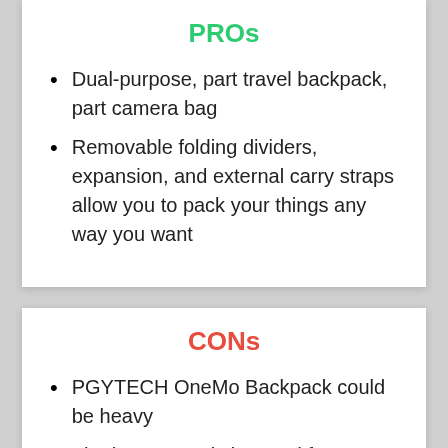PROs
Dual-purpose, part travel backpack, part camera bag
Removable folding dividers, expansion, and external carry straps allow you to pack your things any way you want
CONs
PGYTECH OneMo Backpack could be heavy
The bag can only be used for